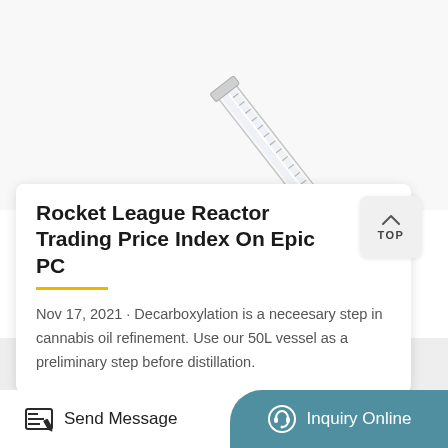[Figure (photo): Diagonal syringe/glass laboratory instrument on white background, top portion of page]
Rocket League Reactor Trading Price Index On Epic PC
Nov 17, 2021 · Decarboxylation is a neceesary step in cannabis oil refinement. Use our 50L vessel as a preliminary step before distillation.
[Figure (photo): Glass funnel or flask stand base, silver/chrome colored, bottom portion of page]
Send Message
Inquiry Online